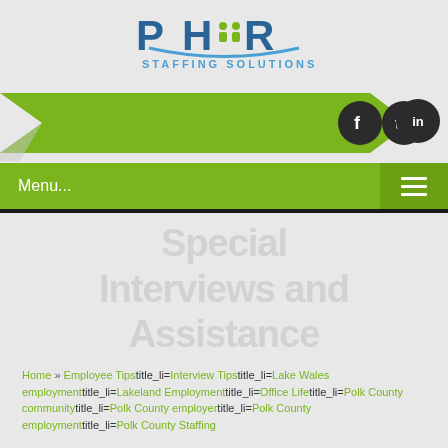[Figure (logo): PHR Staffing Solutions logo with blue text and green arc]
[Figure (infographic): Green arrow/chevron banner with Facebook, Twitter, LinkedIn social media icons in dark circles]
[Figure (infographic): Green navigation menu bar with Menu... text on left and hamburger icon on right]
[Figure (other): Light gray watermark hero area with faded text 'Special Interviews and Assistance']
Home » Employee Tipstitle_li=Interview Tipstitle_li=Lake Wales employmenttitle_li=Lakeland Employmenttitle_li=Office Lifetitle_li=Polk County communitytitle_li=Polk County employertitle_li=Polk County employmenttitle_li=Polk County Staffing